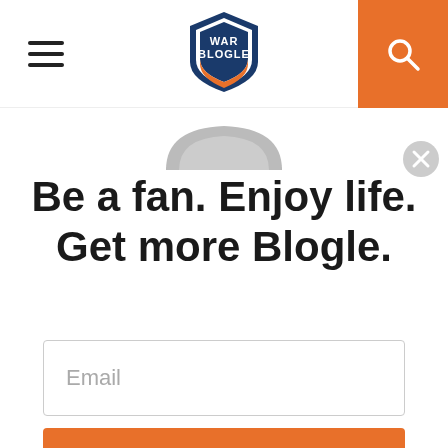War Blogle — navigation bar with hamburger menu, logo, and search button
[Figure (screenshot): Partially visible War Blogle mascot hat at top of modal popup]
Be a fan. Enjoy life. Get more Blogle.
Email
Sign Up